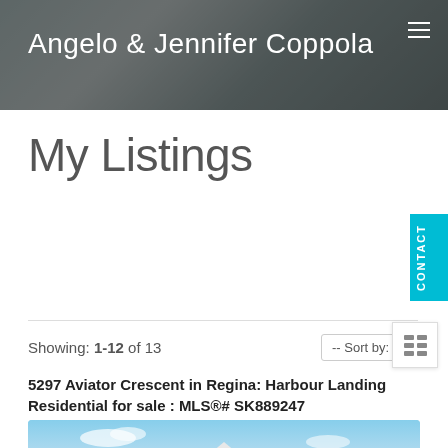Angelo & Jennifer Coppola
My Listings
Showing: 1-12 of 13
5297 Aviator Crescent in Regina: Harbour Landing Residential for sale : MLS®# SK889247
[Figure (photo): Exterior photo of residential property at 5297 Aviator Crescent, Regina]